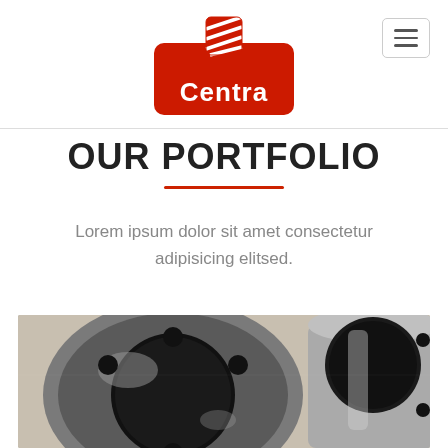[Figure (logo): Red Centra company logo with bolt/nut graphic icon on top of a red rounded rectangle with company name.]
OUR PORTFOLIO
Lorem ipsum dolor sit amet consectetur adipisicing elitsed.
[Figure (photo): Close-up photograph of two polished stainless steel pipe flanges / mechanical fittings showing circular bolt holes and hollow cylindrical openings, on a light background.]